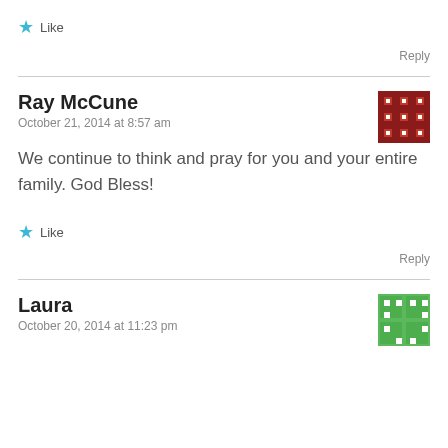Like
Reply
Ray McCune
October 21, 2014 at 8:57 am
We continue to think and pray for you and your entire family. God Bless!
Like
Reply
Laura
October 20, 2014 at 11:23 pm